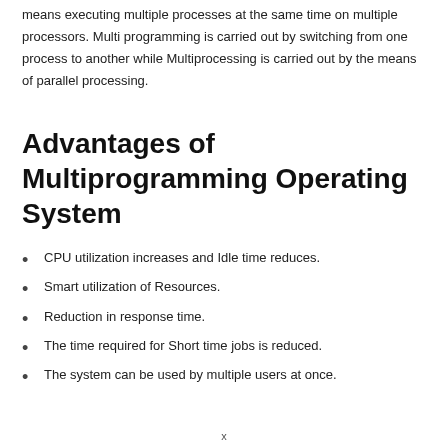means executing multiple processes at the same time on multiple processors. Multi programming is carried out by switching from one process to another while Multiprocessing is carried out by the means of parallel processing.
Advantages of Multiprogramming Operating System
CPU utilization increases and Idle time reduces.
Smart utilization of Resources.
Reduction in response time.
The time required for Short time jobs is reduced.
The system can be used by multiple users at once.
x